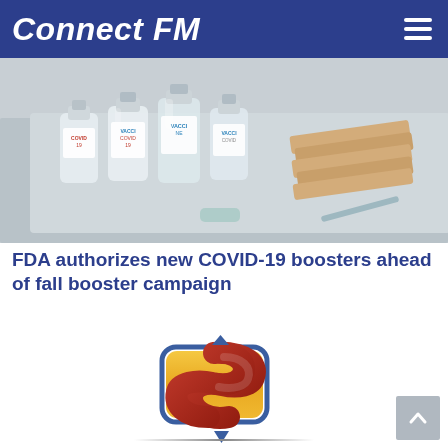Connect FM
[Figure (photo): Photo of COVID-19 vaccine vials and bandages on a medical tray]
FDA authorizes new COVID-19 boosters ahead of fall booster campaign
[Figure (logo): Sarvey Insurance logo — stylized S shape in red on gold/yellow rounded rectangle with blue outline, above the text SARVEY INSURANCE and tagline Protecting your family is our family business®]